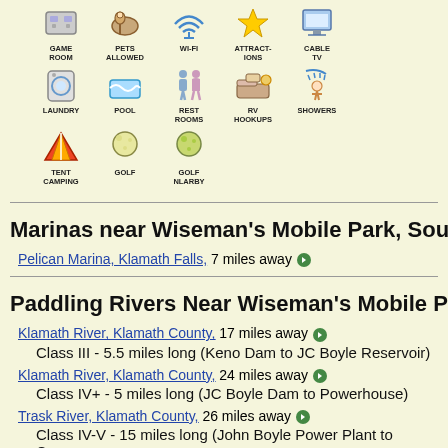[Figure (infographic): Grid of campground amenity icons: Game Room, Pets Allowed, Wi-Fi, Attractions, Cable TV (top row); Laundry, Pool, Rest Rooms, RV Hookups, Showers (second row); Tent Camping, Golf, Golf Nearby (third row)]
Marinas near Wiseman's Mobile Park, Southern Cas
Pelican Marina, Klamath Falls, 7 miles away
Paddling Rivers Near Wiseman's Mobile Park, South
Klamath River, Klamath County, 17 miles away
Class III - 5.5 miles long (Keno Dam to JC Boyle Reservoir)
Klamath River, Klamath County, 24 miles away
Class IV+ - 5 miles long (JC Boyle Dam to Powerhouse)
Trask River, Klamath County, 26 miles away
Class IV-V - 15 miles long (John Boyle Power Plant to Copco